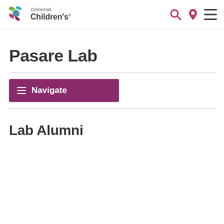Cincinnati Children's
Pasare Lab
[Figure (other): Purple Navigate menu button with hamburger icon]
Lab Alumni